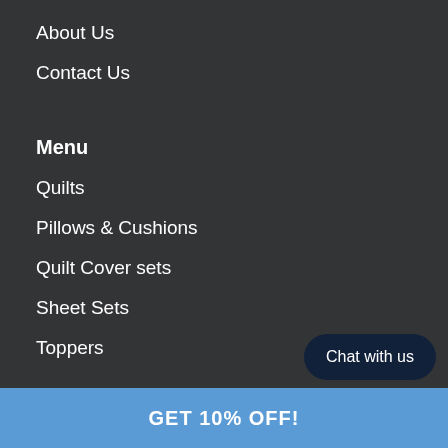About Us
Contact Us
Menu
Quilts
Pillows & Cushions
Quilt Cover sets
Sheet Sets
Toppers
Chat with us
GET 10% OFF!